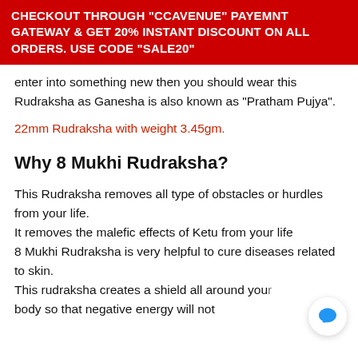CHECKOUT THROUGH "CCAVENUE" PAYEMNT GATEWAY & GET 20% INSTANT DISCOUNT ON ALL ORDERS. USE CODE "SALE20"
enter into something new then you should wear this Rudraksha as Ganesha is also known as "Pratham Pujya".
22mm Rudraksha with weight 3.45gm.
Why 8 Mukhi Rudraksha?
This Rudraksha removes all type of obstacles or hurdles from your life.
It removes the malefic effects of Ketu from your life
8 Mukhi Rudraksha is very helpful to cure diseases related to skin.
This rudraksha creates a shield all around your body so that negative energy will not